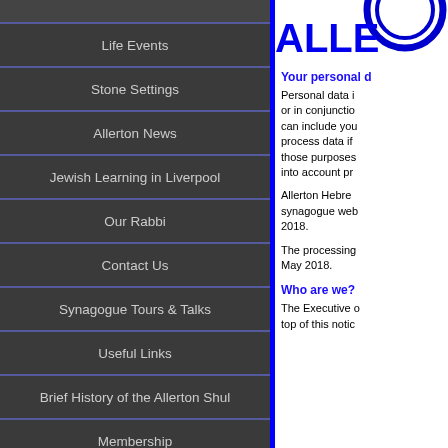Life Events
Stone Settings
Allerton News
Jewish Learning in Liverpool
Our Rabbi
Contact Us
Synagogue Tours & Talks
Useful Links
Brief History of the Allerton Shul
Membership
[Figure (logo): Allerton Hebrew Congregation logo - partial view showing blue circular emblem and text ALLE]
Your personal d
Personal data is or in conjunction can include you process data if those purposes into account pr
Allerton Hebrew synagogue web 2018.
The processing c May 2018.
Who are we?
The Executive of top of this notice